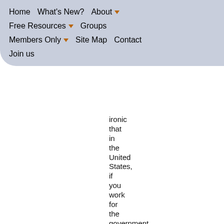Home  What's New?  About  Free Resources  Groups  Members Only  Site Map  Contact  Join us
ironic that in the United States, if you work for the government, and you have a truth to reveal that calls into question the policies of